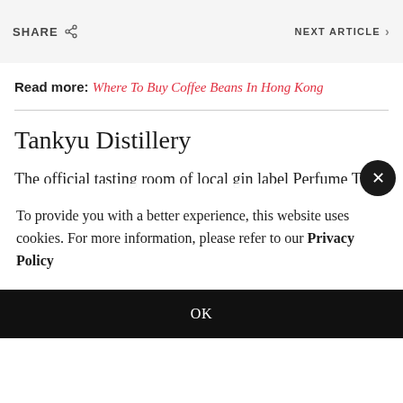SHARE
NEXT ARTICLE
Read more: Where To Buy Coffee Beans In Hong Kong
Tankyu Distillery
The official tasting room of local gin label Perfume Trees
To provide you with a better experience, this website uses cookies. For more information, please refer to our Privacy Policy
OK